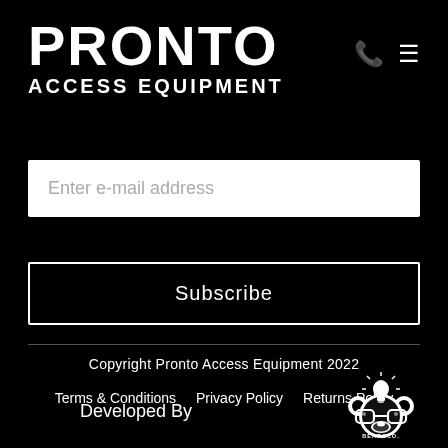PRONTO ACCESS EQUIPMENT
Enter e-mail address
Subscribe
Copyright Pronto Access Equipment 2022
Terms & Conditions   Privacy Policy   Returns Policy
Developed By
[Figure (logo): Bear & Co. The Advice Agency logo — a cartoon bear face with glasses and a lightbulb above the head]